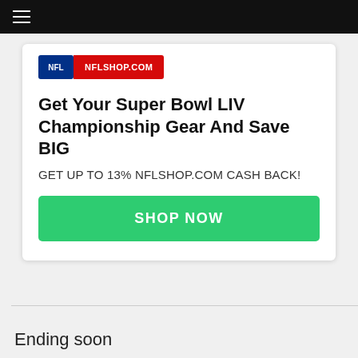[Figure (screenshot): Black top navigation bar with hamburger menu icon (three horizontal white lines)]
[Figure (logo): NFL Shop logo: NFL shield in blue on left, red bar reading NFLSHOP.COM on right]
Get Your Super Bowl LIV Championship Gear And Save BIG
GET UP TO 13% NFLSHOP.COM CASH BACK!
SHOP NOW
Ending soon